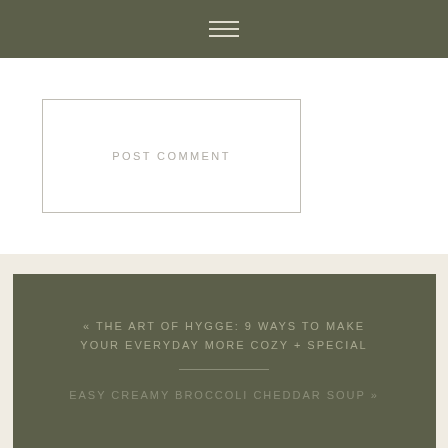≡
POST COMMENT
« THE ART OF HYGGE: 9 WAYS TO MAKE YOUR EVERYDAY MORE COZY + SPECIAL
EASY CREAMY BROCCOLI CHEDDAR SOUP »